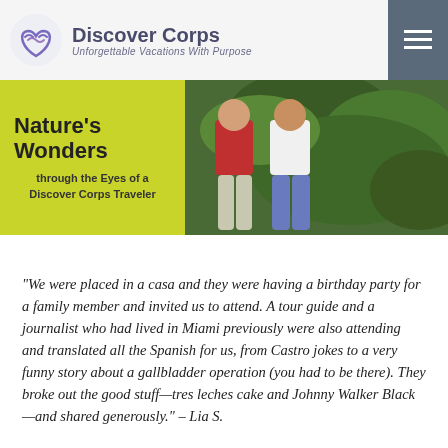Discover Corps — Unforgettable Vacations With Purpose
[Figure (photo): Hero image showing two people standing among lush green plants, with a yellow/lime-green overlay box on the left containing title text 'Nature's Wonders through the Eyes of a Discover Corps Traveler']
“We were placed in a casa and they were having a birthday party for a family member and invited us to attend. A tour guide and a journalist who had lived in Miami previously were also attending and translated all the Spanish for us, from Castro jokes to a very funny story about a gallbladder operation (you had to be there). They broke out the good stuff—tres leches cake and Johnny Walker Black—and shared generously.” – Lia S.